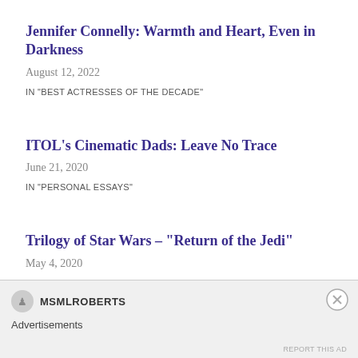Jennifer Connelly: Warmth and Heart, Even in Darkness
August 12, 2022
IN "BEST ACTRESSES OF THE DECADE"
ITOL’s Cinematic Dads: Leave No Trace
June 21, 2020
IN "PERSONAL ESSAYS"
Trilogy of Star Wars – “Return of the Jedi”
May 4, 2020
IN "PERSONAL ESSAYS"
MSMLROBERTS
Advertisements
REPORT THIS AD